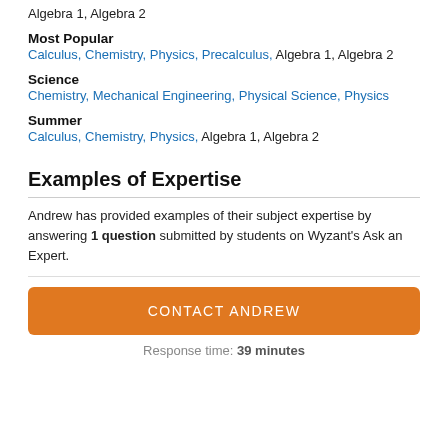Algebra 1, Algebra 2
Most Popular
Calculus, Chemistry, Physics, Precalculus, Algebra 1, Algebra 2
Science
Chemistry, Mechanical Engineering, Physical Science, Physics
Summer
Calculus, Chemistry, Physics, Algebra 1, Algebra 2
Examples of Expertise
Andrew has provided examples of their subject expertise by answering 1 question submitted by students on Wyzant’s Ask an Expert.
CONTACT ANDREW
Response time: 39 minutes